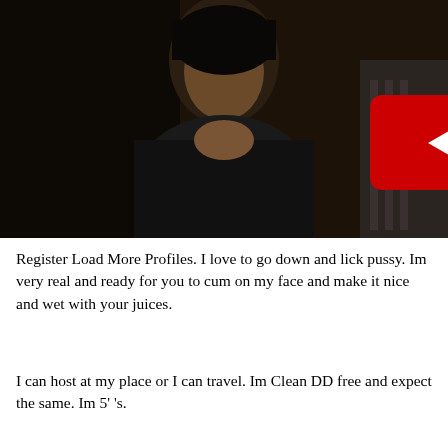[Figure (screenshot): Video thumbnail showing a woman in a dark room with a YouTube play button overlay in the center]
Register Load More Profiles. I love to go down and lick pussy. Im very real and ready for you to cum on my face and make it nice and wet with your juices.
I can host at my place or I can travel. Im Clean DD free and expect the same. Im 5' 's.